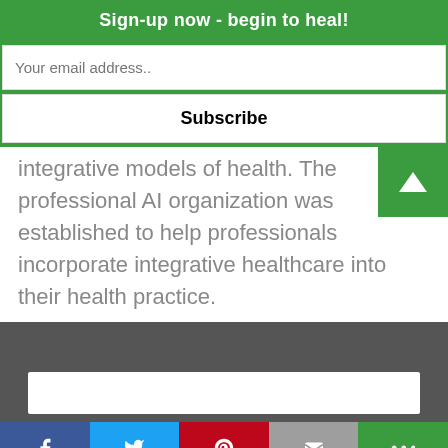Sign-up now - begin to heal!
integrative models of health. The professional AI organization was established to help professionals incorporate integrative healthcare into their health practice.
[Figure (screenshot): Dark gray footer section with a white input box partially visible at the bottom]
Social share bar with Facebook, Twitter, Pinterest, Email, and Share icons